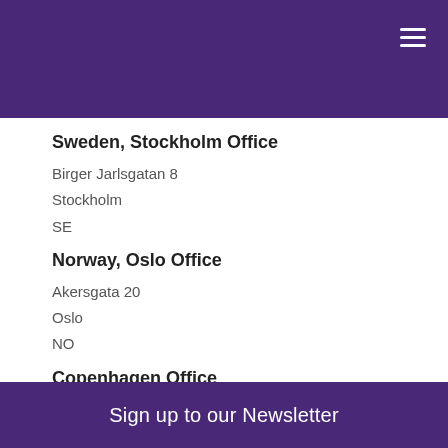Sweden, Stockholm Office
Birger Jarlsgatan 8
Stockholm
SE
Norway, Oslo Office
Akersgata 20
Oslo
NO
Copenhagen Office
Bredgade 23B 3.sal 1260 Kobenhavn K
Copenhagen
DK
Sign up to our Newsletter